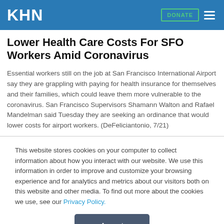KHN
Lower Health Care Costs For SFO Workers Amid Coronavirus
Essential workers still on the job at San Francisco International Airport say they are grappling with paying for health insurance for themselves and their families, which could leave them more vulnerable to the coronavirus. San Francisco Supervisors Shamann Walton and Rafael Mandelman said Tuesday they are seeking an ordinance that would lower costs for airport workers. (DeFeliciantonio, 7/21)
This website stores cookies on your computer to collect information about how you interact with our website. We use this information in order to improve and customize your browsing experience and for analytics and metrics about our visitors both on this website and other media. To find out more about the cookies we use, see our Privacy Policy.
Accept